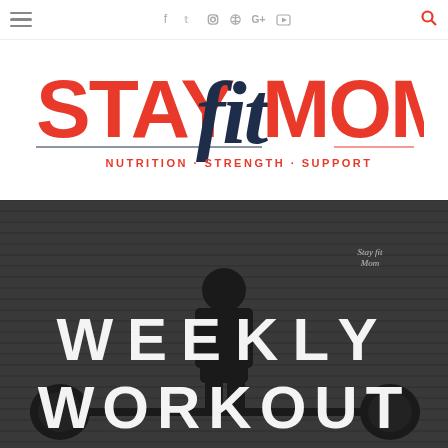≡  f  𝕥  ○  ⓟ  G+  ▶  🔍
[Figure (logo): Stay Fit Mom logo with script 'fit' in dark blue/navy between bold red 'STAY' and 'MOM' text, with tagline 'NUTRITION · STRENGTH · SUPPORT' in red below]
[Figure (photo): Woman in black workout clothes performing a deadlift with a barbell in a gym with brick wall background. Large white bold text overlay reads 'WEEKLY WORKOUT'. Small watermark in top right reads 'Stay Fit Mom'.]